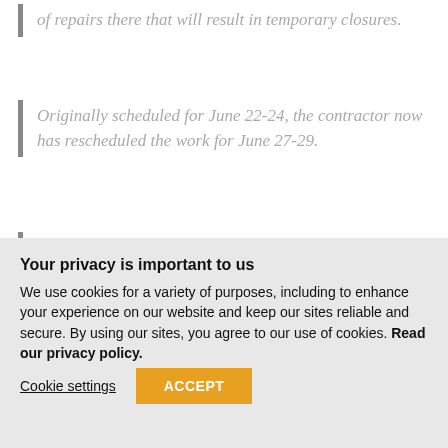of repairs there that will result in temporary closures.
Originally scheduled for June 22-24, the contractor now has rescheduled the work for June 27-29.
Water draining from the pull-through near the ramp area has caused erosion undermining the sidewalk attached to the boat ramp, and
Your privacy is important to us
We use cookies for a variety of purposes, including to enhance your experience on our website and keep our sites reliable and secure. By using our sites, you agree to our use of cookies. Read our privacy policy.
Cookie settings
ACCEPT